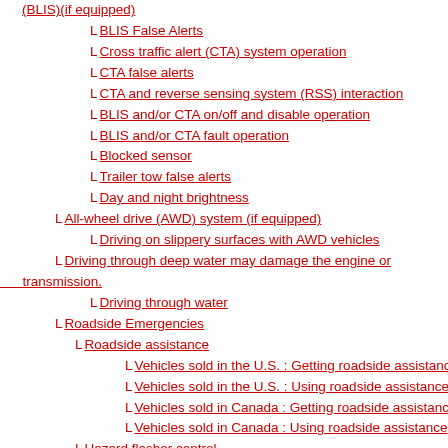(BLIS)(if equipped)
BLIS False Alerts
Cross traffic alert (CTA) system operation
CTA false alerts
CTA and reverse sensing system (RSS) interaction
BLIS and/or CTA on/off and disable operation
BLIS and/or CTA fault operation
Blocked sensor
Trailer tow false alerts
Day and night brightness
All-wheel drive (AWD) system (if equipped)
Driving on slippery surfaces with AWD vehicles
Driving through deep water may damage the engine ortransmission.
Driving through water
Roadside Emergencies
Roadside assistance
Vehicles sold in the U.S. : Getting roadside assistance
Vehicles sold in the U.S. : Using roadside assistance
Vehicles sold in Canada : Getting roadside assistance
Vehicles sold in Canada : Using roadside assistance
Hazard flasher control
Fuel pump shut-off